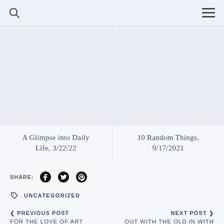Search | Menu
A Glimpse into Daily Life, 3/22/22
10 Random Things, 9/17/2021
SHARE: (Facebook) (Twitter) (Pinterest)
UNCATEGORIZED
< PREVIOUS POST — FOR THE LOVE OF ART | NEXT POST > — OUT WITH THE OLD IN WITH THE BLUE